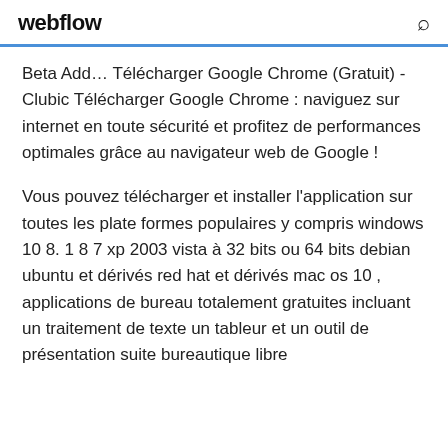webflow
Beta Add… Télécharger Google Chrome (Gratuit) - Clubic Télécharger Google Chrome : naviguez sur internet en toute sécurité et profitez de performances optimales grâce au navigateur web de Google !
Vous pouvez télécharger et installer l'application sur toutes les plate formes populaires y compris windows 10 8. 1 8 7 xp 2003 vista à 32 bits ou 64 bits debian ubuntu et dérivés red hat et dérivés mac os 10 , applications de bureau totalement gratuites incluant un traitement de texte un tableur et un outil de présentation suite bureautique libre et gratuite proposé par Google Ch…